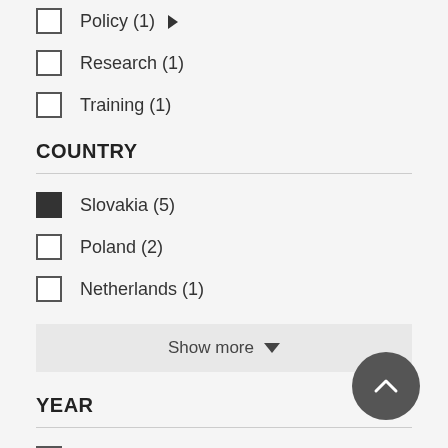Policy (1)
Research (1)
Training (1)
COUNTRY
Slovakia (5)
Poland (2)
Netherlands (1)
Show more
YEAR
2014 (4)
2016 (4)